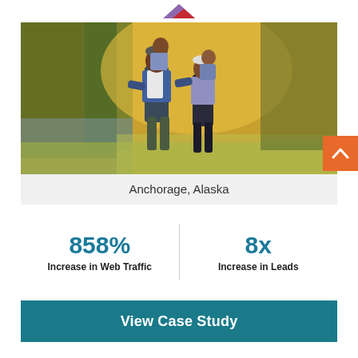[Figure (photo): A family of two adults and two children outdoors in a golden autumn field near water with trees in background. Adults carry children on their backs.]
Anchorage, Alaska
858%
Increase in Web Traffic
8x
Increase in Leads
View Case Study